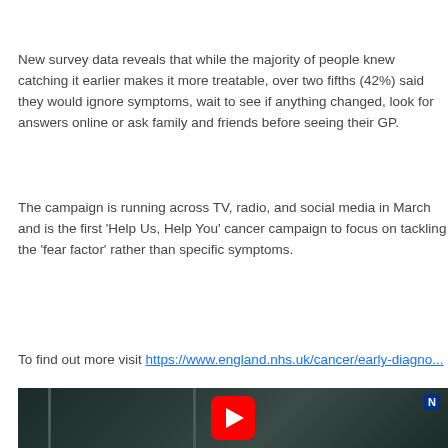New survey data reveals that while the majority of people knew catching it earlier makes it more treatable, over two fifths (42%) said they would ignore symptoms, wait to see if anything changed, look for answers online or ask family and friends before seeing their GP.
The campaign is running across TV, radio, and social media in March and is the first 'Help Us, Help You' cancer campaign to focus on tackling the 'fear factor' rather than specific symptoms.
To find out more visit https://www.england.nhs.uk/cancer/early-diagno...
[Figure (screenshot): Video thumbnail showing a man in a dark, industrial or vehicle setting with a YouTube play button overlay and NHS logo badge in top right corner.]